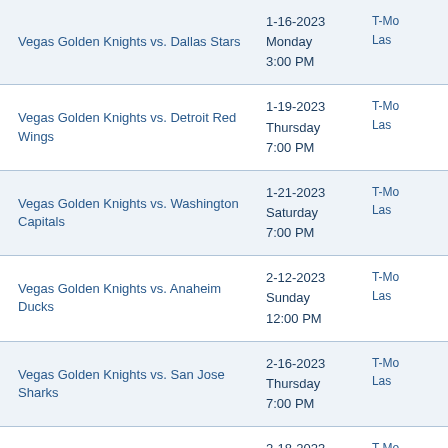| Matchup | Date/Time | Venue |
| --- | --- | --- |
| Vegas Golden Knights vs. Dallas Stars | 1-16-2023
Monday
3:00 PM | T-Mo
Las |
| Vegas Golden Knights vs. Detroit Red Wings | 1-19-2023
Thursday
7:00 PM | T-Mo
Las |
| Vegas Golden Knights vs. Washington Capitals | 1-21-2023
Saturday
7:00 PM | T-Mo
Las |
| Vegas Golden Knights vs. Anaheim Ducks | 2-12-2023
Sunday
12:00 PM | T-Mo
Las |
| Vegas Golden Knights vs. San Jose Sharks | 2-16-2023
Thursday
7:00 PM | T-Mo
Las |
| Vegas Golden Knights vs. Tampa Bay Lightning | 2-18-2023
Saturday
7:30 PM | T-Mo
Las |
| Vegas Golden Knights vs. Calgary Flames | 2-23-2023
Thursday
7:00 PM | T-Mo
Las |
| Vegas Golden Knights vs. Dallas Stars | 2-25-2023
Saturday
7:00 PM | T-Mo
Las |